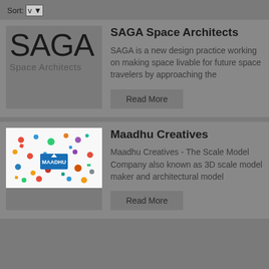Sort: v
SAGA Space Architects
SAGA is a new design practice working on making space livable for future space travelers by approaching the
Read More
Maadhu Creatives
Maadhu Creatives - The Scale Model Company also known as 3D scale model maker and architectural model
Read More